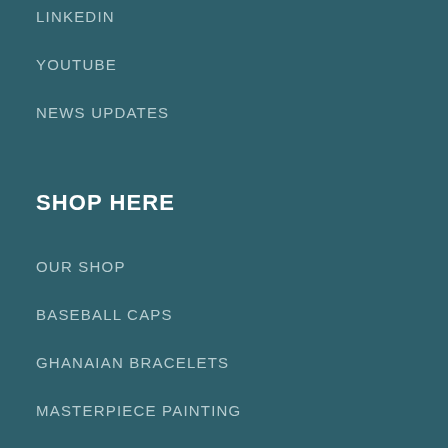LINKEDIN
YOUTUBE
NEWS UPDATES
SHOP HERE
OUR SHOP
BASEBALL CAPS
GHANAIAN BRACELETS
MASTERPIECE PAINTING